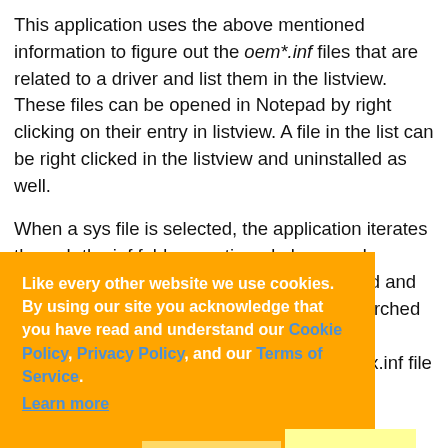This application uses the above mentioned information to figure out the oem*.inf files that are related to a driver and list them in the listview. These files can be opened in Notepad by right clicking on their entry in listview. A file in the list can be right clicked in the listview and uninstalled as well.

When a sys file is selected, the application iterates through the inf folder mentioned above and searches for : Oem*.inf. Each [file] is opened and the [content] or in the inf file: [section is] searched [and in] section, a key [word is] searched [..."scvscv.sys", then we open the first OemXx.inf file obtained in the search
Like every other website we use cookies. By using our site you acknowledge that you have read and understand our Cookie Policy, Privacy Policy, and our Terms of Service. Learn more